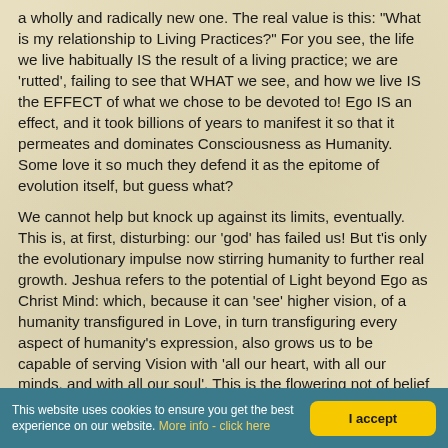a wholly and radically new one. The real value is this: "What is my relationship to Living Practices?" For you see, the life we live habitually IS the result of a living practice; we are 'rutted', failing to see that WHAT we see, and how we live IS the EFFECT of what we chose to be devoted to! Ego IS an effect, and it took billions of years to manifest it so that it permeates and dominates Consciousness as Humanity. Some love it so much they defend it as the epitome of evolution itself, but guess what?
We cannot help but knock up against its limits, eventually. This is, at first, disturbing: our 'god' has failed us! But t'is only the evolutionary impulse now stirring humanity to further real growth. Jeshua refers to the potential of Light beyond Ego as Christ Mind: which, because it can 'see' higher vision, of a humanity transfigured in Love, in turn transfiguring every aspect of humanity's expression, also grows us to be capable of serving Vision with 'all our heart, with all our minds, and with all our soul'. This is the flowering not of belief in Idea, but the EFFECT of immersion in Living Practice.
This website uses cookies to ensure you get the best experience on our website. More info - click here | I accept